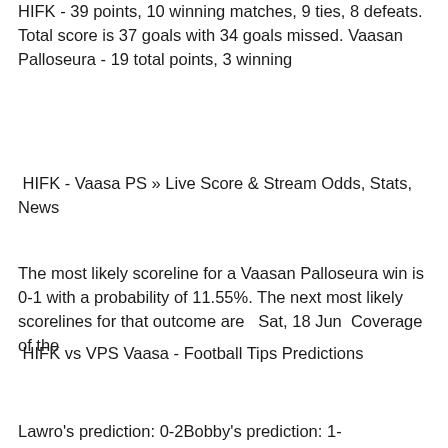HIFK - 39 points, 10 winning matches, 9 ties, 8 defeats. Total score is 37 goals with 34 goals missed. Vaasan Palloseura - 19 total points, 3 winning
HIFK - Vaasa PS » Live Score & Stream Odds, Stats, News
The most likely scoreline for a Vaasan Palloseura win is 0-1 with a probability of 11.55%. The next most likely scorelines for that outcome are   Sat, 18 Jun  Coverage of the
HIFK vs VPS Vaasa - Football Tips Predictions
Lawro's prediction: 0-2Bobby's prediction: 1-